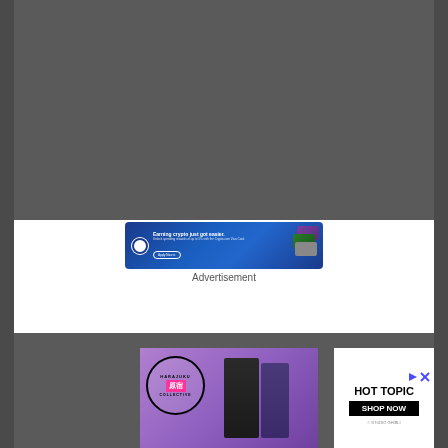[Figure (photo): Dark gray background area at top of page]
[Figure (screenshot): Crypto.com advertisement banner: 'Earning crypto just got easier. Unlock spending rewards of up to 5% with the Crypto.com Visa Card. Apply Now' on blue gradient background with card images]
Advertisement
[Figure (screenshot): Harajuku Collective advertisement with purple background, two figures in dark clothing, and circular logo with pink kanji text]
[Figure (screenshot): Hot Topic advertisement with play/close icons, HOT TOPIC logo in bold black text, SHOP NOW button, and '© STUDIO GHIBLI' footer text]